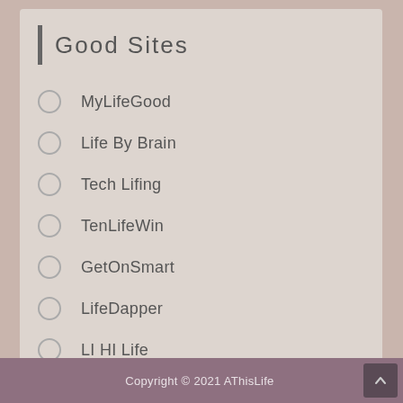Good Sites
MyLifeGood
Life By Brain
Tech Lifing
TenLifeWin
GetOnSmart
LifeDapper
LI HI Life
RE LIFE ZERO
WeCanLife
Copyright © 2021 AThisLife